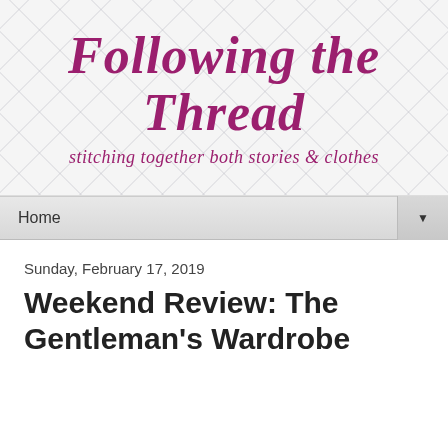Following the Thread
stitching together both stories & clothes
Home
Sunday, February 17, 2019
Weekend Review: The Gentleman's Wardrobe